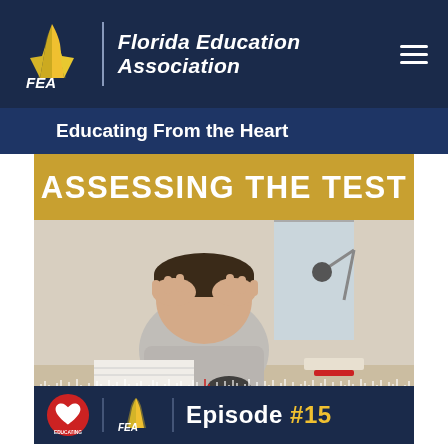FEA | Florida Education Association
Educating From the Heart
[Figure (screenshot): Podcast episode artwork for 'Assessing the Test' Episode #15. Shows a stressed child with head in hands at a desk, overlaid with an audio waveform. Bottom bar shows FEA logo and 'Episode #15' in gold text.]
ASSESSING THE TEST — Educating from the Heart, Episode #15